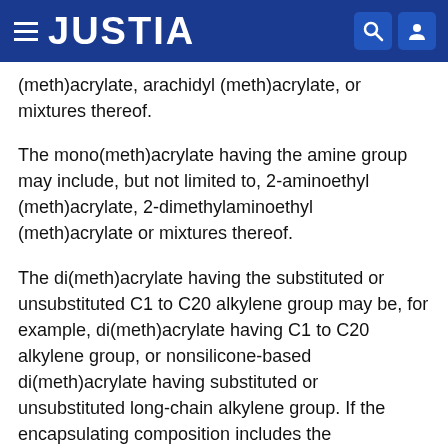JUSTIA
(meth)acrylate, arachidyl (meth)acrylate, or mixtures thereof.
The mono(meth)acrylate having the amine group may include, but not limited to, 2-aminoethyl (meth)acrylate, 2-dimethylaminoethyl (meth)acrylate or mixtures thereof.
The di(meth)acrylate having the substituted or unsubstituted C1 to C20 alkylene group may be, for example, di(meth)acrylate having C1 to C20 alkylene group, or nonsilicone-based di(meth)acrylate having substituted or unsubstituted long-chain alkylene group. If the encapsulating composition includes the nonsilicone-based di(meth)acrylate having long-chain alkylene group, the composition may be used to form easily an organic barrier layer on an organic light emitting device or an inorganic layer encapsulating the